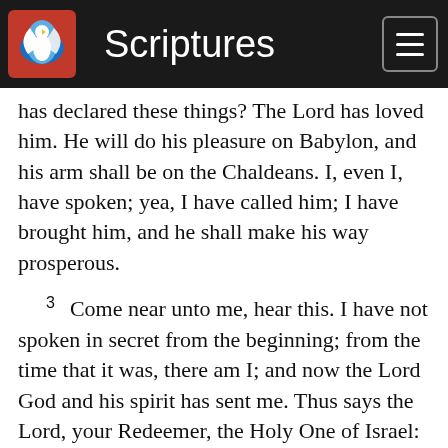Scriptures
has declared these things? The Lord has loved him. He will do his pleasure on Babylon, and his arm shall be on the Chaldeans. I, even I, have spoken; yea, I have called him; I have brought him, and he shall make his way prosperous.
3  Come near unto me, hear this. I have not spoken in secret from the beginning; from the time that it was, there am I; and now the Lord God and his spirit has sent me. Thus says the Lord, your Redeemer, the Holy One of Israel: I am the Lord your God who teaches you to profit, who leads you by the way that you should go. Oh that you had listened to my commandments; then would your peace have been as a river and your righteousness as the waves of the sea. Your seed also would have been as the sand, and the